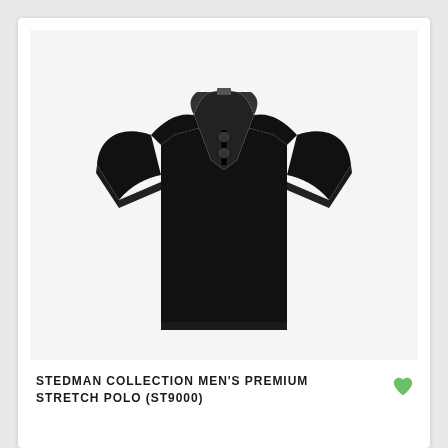[Figure (photo): A black men's polo shirt with short sleeves, two-button placket, and ribbed collar, displayed flat against a light grey background.]
STEDMAN COLLECTION MEN'S PREMIUM STRETCH POLO (ST9000)